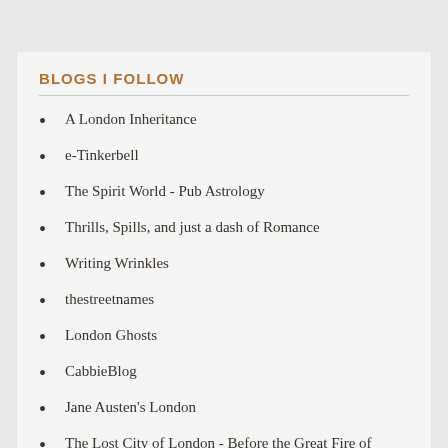BLOGS I FOLLOW
A London Inheritance
e-Tinkerbell
The Spirit World - Pub Astrology
Thrills, Spills, and just a dash of Romance
Writing Wrinkles
thestreetnames
London Ghosts
CabbieBlog
Jane Austen's London
The Lost City of London - Before the Great Fire of